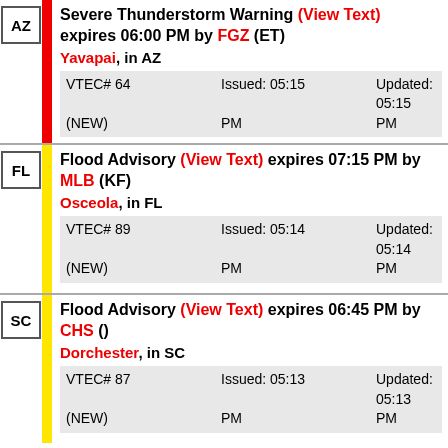AZ | Severe Thunderstorm Warning (View Text) expires 06:00 PM by FGZ (ET) Yavapai, in AZ VTEC# 64 (NEW) Issued: 05:15 PM Updated: 05:15 PM
FL | Flood Advisory (View Text) expires 07:15 PM by MLB (KF) Osceola, in FL VTEC# 89 (NEW) Issued: 05:14 PM Updated: 05:14 PM
SC | Flood Advisory (View Text) expires 06:45 PM by CHS () Dorchester, in SC VTEC# 87 (NEW) Issued: 05:13 PM Updated: 05:13 PM